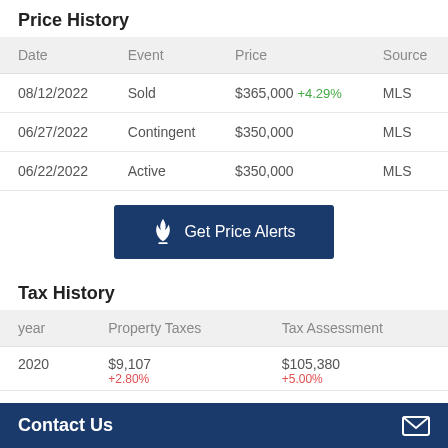Price History
| Date | Event | Price | Source |
| --- | --- | --- | --- |
| 08/12/2022 | Sold | $365,000 +4.29% | MLS |
| 06/27/2022 | Contingent | $350,000 | MLS |
| 06/22/2022 | Active | $350,000 | MLS |
[Figure (other): Get Price Alerts button with flame icon]
Tax History
| year | Property Taxes | Tax Assessment |
| --- | --- | --- |
| 2020 | $9,107 +2.80% | $105,380 +5.00% |
Contact Us